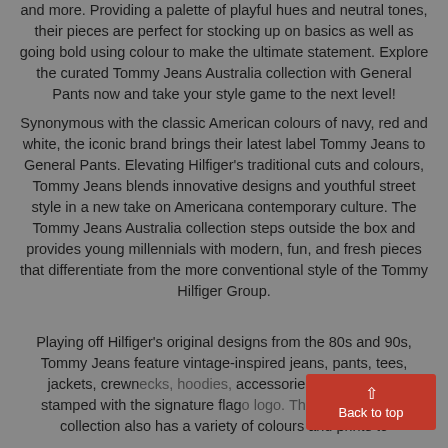and more. Providing a palette of playful hues and neutral tones, their pieces are perfect for stocking up on basics as well as going bold using colour to make the ultimate statement. Explore the curated Tommy Jeans Australia collection with General Pants now and take your style game to the next level!
Synonymous with the classic American colours of navy, red and white, the iconic brand brings their latest label Tommy Jeans to General Pants. Elevating Hilfiger's traditional cuts and colours, Tommy Jeans blends innovative designs and youthful street style in a new take on Americana contemporary culture. The Tommy Jeans Australia collection steps outside the box and provides young millennials with modern, fun, and fresh pieces that differentiate from the more conventional style of the Tommy Hilfiger Group.
Playing off Hilfiger's original designs from the 80s and 90s, Tommy Jeans feature vintage-inspired jeans, pants, tees, jackets, crewnecks, hoodies, accessories and more, all stamped with the signature flag logo. The Tommy Jeans collection also has a variety of colours and prints to